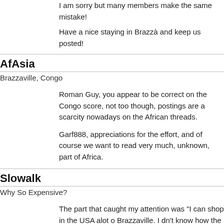I am sorry but many members make the same mistake!
Have a nice staying in Brazzà and keep us posted!
AfAsia
Brazzaville, Congo
Roman Guy, you appear to be correct on the Congo score, not too though, postings are a scarcity nowadays on the African threads.
Garf888, appreciations for the effort, and of course we want to read very much, unknown, part of Africa.
Slowalk
Why So Expensive?
The part that caught my attention was "I can shop in the USA alot o Brazzaville. I dn't know how the people make it here." It seems tha Kinasha time and time again. What part of either Congo is so expe know why these two countries are so expensve? Its still Africa.